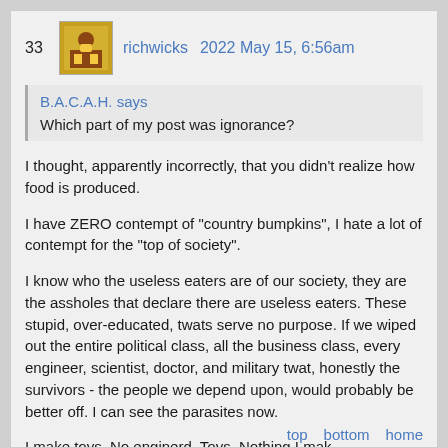33   richwicks   2022 May 15, 6:56am
B.A.C.A.H. says
Which part of my post was ignorance?
I thought, apparently incorrectly, that you didn't realize how food is produced.
I have ZERO contempt of "country bumpkins", I hate a lot of contempt for the "top of society".
I know who the useless eaters are of our society, they are the assholes that declare there are useless eaters. These stupid, over-educated, twats serve no purpose. If we wiped out the entire political class, all the business class, every engineer, scientist, doctor, and military twat, honestly the survivors - the people we depend upon, would probably be better off. I can see the parasites now.
top   bottom   home
I make toys. No enginerd. Toys. Nothing I mak...